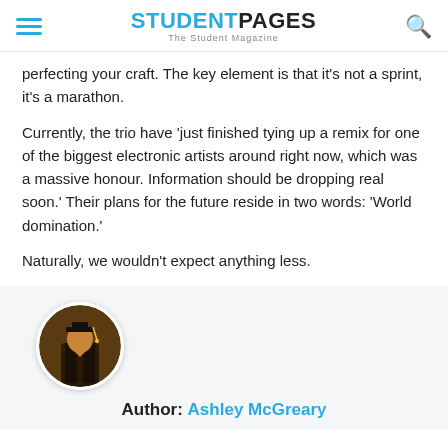STUDENTPAGES — The Student Magazine
perfecting your craft. The key element is that it's not a sprint, it's a marathon.
Currently, the trio have 'just finished tying up a remix for one of the biggest electronic artists around right now, which was a massive honour. Information should be dropping real soon.' Their plans for the future reside in two words: 'World domination.'
Naturally, we wouldn't expect anything less.
[Figure (photo): Circular author avatar photo of Ashley McGreary in graduation attire]
Author: Ashley McGreary